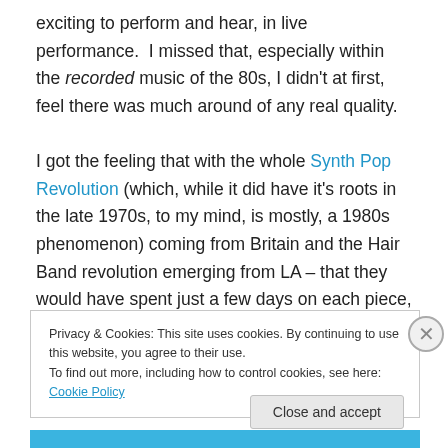exciting to perform and hear, in live performance. I missed that, especially within the recorded music of the 80s, I didn't at first, feel there was much around of any real quality.

I got the feeling that with the whole Synth Pop Revolution (which, while it did have it's roots in the late 1970s, to my mind, is mostly, a 1980s phenomenon) coming from Britain and the Hair Band revolution emerging from LA – that they would have spent just a few days on each piece, and no more – clock is ticking, time is
Privacy & Cookies: This site uses cookies. By continuing to use this website, you agree to their use.
To find out more, including how to control cookies, see here: Cookie Policy